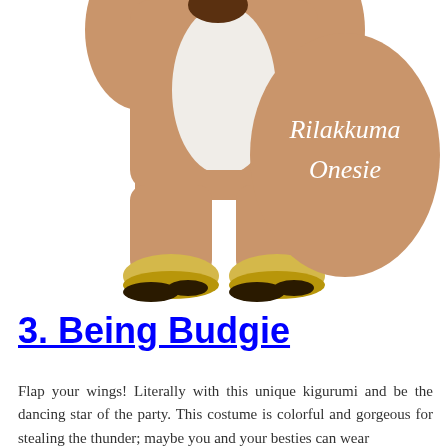[Figure (photo): Person wearing a tan/brown Rilakkuma bear onesie costume with white belly panel and yellow bear-paw slippers, photographed from the waist down showing the legs and feet against a white background. A large tan oval badge in the upper right reads 'Rilakkuma Onesie' in white serif text.]
3. Being Budgie
Flap your wings! Literally with this unique kigurumi and be the dancing star of the party. This costume is colorful and gorgeous for stealing the thunder; maybe you and your besties can wear